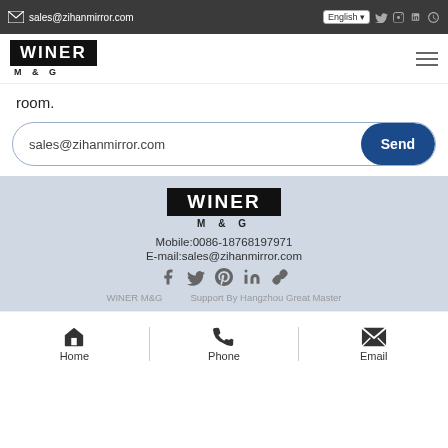sales@zihanmirror.com | English | social icons
[Figure (logo): WINER M&G logo - white text on black background with hamburger menu]
room.
sales@zihanmirror.com  Send
[Figure (logo): WINER M&G footer logo on light blue-grey background]
Mobile:0086-18768197971
E-mail:sales@zihanmirror.com
[Figure (infographic): Social media icons: facebook, twitter, pinterest, linkedin, aliexpress]
WINER M&G    Support By Hangzhou Great Master
Home | Phone | Email